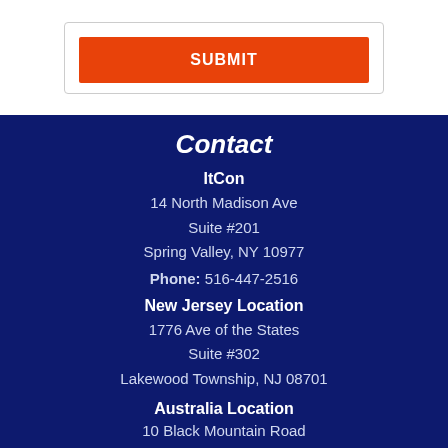[Figure (screenshot): Orange SUBMIT button inside a bordered form box on white background]
Contact
ItCon
14 North Madison Ave
Suite #201
Spring Valley, NY 10977
Phone: 516-447-2516
New Jersey Location
1776 Ave of the States
Suite #302
Lakewood Township, NJ 08701
Australia Location
10 Black Mountain Road